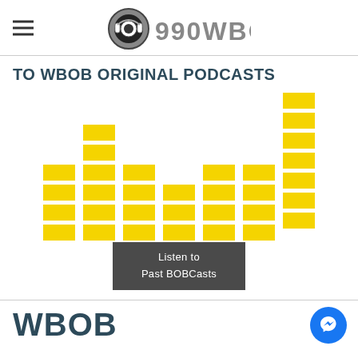990 WBOB Logo and navigation
TO WBOB ORIGINAL PODCASTS
[Figure (illustration): Animated equalizer bars graphic made of yellow square blocks arranged in columns of varying heights, resembling a music equalizer/audio visualizer]
Listen to Past BOBCasts
WBOB